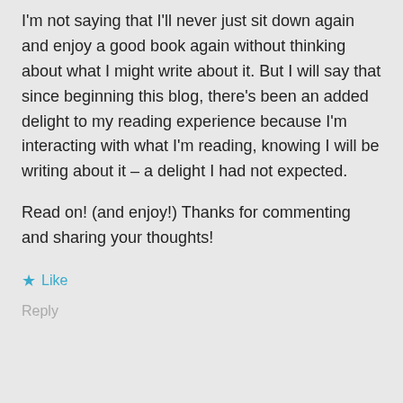I'm not saying that I'll never just sit down again and enjoy a good book again without thinking about what I might write about it. But I will say that since beginning this blog, there's been an added delight to my reading experience because I'm interacting with what I'm reading, knowing I will be writing about it – a delight I had not expected.
Read on! (and enjoy!) Thanks for commenting and sharing your thoughts!
★ Like
Reply